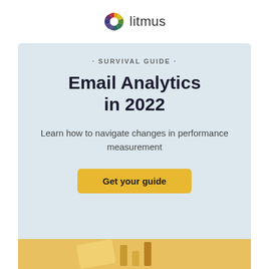[Figure (logo): Litmus logo: colorful segmented wheel circle with 'litmus' text next to it]
· SURVIVAL GUIDE ·
Email Analytics in 2022
Learn how to navigate changes in performance measurement
Get your guide
[Figure (illustration): Bottom partial preview of guide cover with yellow/orange background and chart illustration]